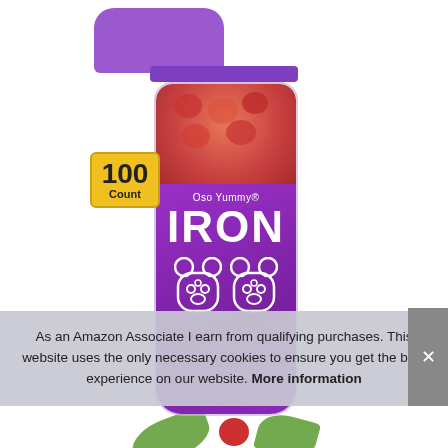[Figure (photo): A clear glass bottle of Oso Yummy® IRON gummy supplements with a purple cap and purple label. The bottle contains 100 count red/orange gummy bears visible through the glass top. A yellow badge reads '100 Count'. The label is purple with white text showing 'Oso Yummy®' and 'IRON' in large letters, with two gummy bear silhouette icons.]
As an Amazon Associate I earn from qualifying purchases. This website uses the only necessary cookies to ensure you get the best experience on our website. More information